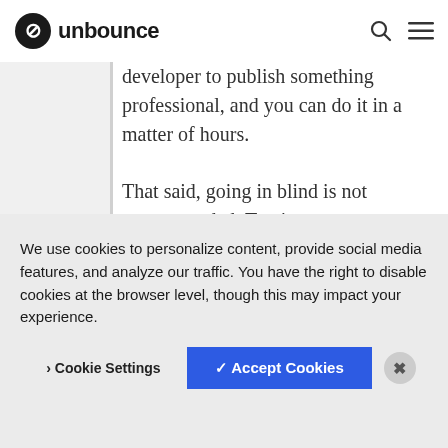unbounce
developer to publish something professional, and you can do it in a matter of hours.
That said, going in blind is not recommended. To give you a
We use cookies to personalize content, provide social media features, and analyze our traffic. You have the right to disable cookies at the browser level, though this may impact your experience.
> Cookie Settings
✓ Accept Cookies